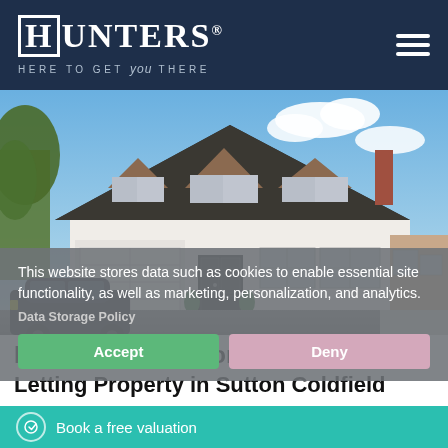HUNTERS® — HERE TO GET you THERE
[Figure (photo): Exterior photo of a large detached house with three dormer windows, dark tiled roof, double garage, parked black car, and a brick-built house visible to the right. Blue sky with clouds in background.]
This website stores data such as cookies to enable essential site functionality, as well as marketing, personalization, and analytics.
Data Storage Policy
Accept
Deny
Landlords in Sutton Coldfield
Letting Property in Sutton Coldfield
The rental market in Sutton Coldfield is small, but prosperous, with both families and professionals being attracted to the
Book a free valuation